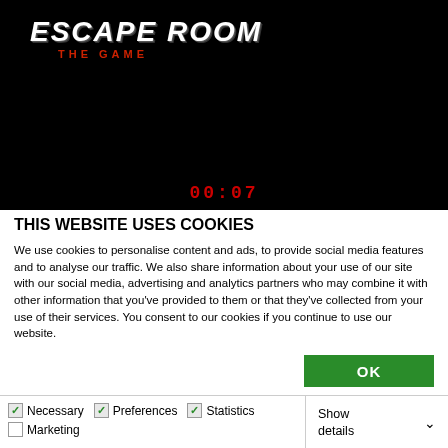[Figure (screenshot): Dark background with 'Escape Room The Game' logo in white grunge text with red subtitle, and a partially visible red digital timer showing 00:07]
THIS WEBSITE USES COOKIES
We use cookies to personalise content and ads, to provide social media features and to analyse our traffic. We also share information about your use of our site with our social media, advertising and analytics partners who may combine it with other information that you've provided to them or that they've collected from your use of their services. You consent to our cookies if you continue to use our website.
OK
Necessary  Preferences  Statistics  Marketing  Show details